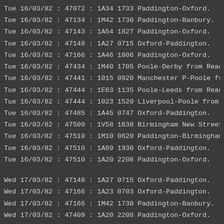Tue 16/03/82 : 47072 : 1A34 1733 Paddington-Oxford.
Tue 16/03/82 : 47134 : 1M42 1730 Paddington-Banbury.
Tue 16/03/82 : 47143 : 1A54 1827 Paddington-Oxford.
Tue 16/03/82 : 47148 : 1A27 0715 Oxford-Paddington.
Tue 16/03/82 : 47166 : 1A46 1806 Paddington-Oxford.
Tue 16/03/82 : 47434 : 1M40 1705 Poole-Derby from Readin
Tue 16/03/82 : 47441 : 1015 0920 Manchester P-Poole from
Tue 16/03/82 : 47444 : 1E63 1135 Poole-Leeds from Readin
Tue 16/03/82 : 47444 : 1023 1520 Liverpool-Poole from Co
Tue 16/03/82 : 47485 : 1A45 0747 Oxford-Paddington.
Tue 16/03/82 : 47509 : 1V58 1638 Birmingham New Street-P
Tue 16/03/82 : 47510 : 1M10 0620 Paddington-Birmingham N
Tue 16/03/82 : 47510 : 1A89 1930 Oxford-Paddington.
Tue 16/03/82 : 47510 : 1A20 2208 Paddington-Oxford.
Wed 17/03/82 : 47148 : 1A27 0715 Oxford-Paddington.
Wed 17/03/82 : 47166 : 1A23 0703 Oxford-Paddington.
Wed 17/03/82 : 47166 : 1M42 1730 Paddington-Banbury.
Wed 17/03/82 : 47409 : 1A20 2208 Paddington-Oxford.
Wed 17/03/82 : 47462 : 1E63 1135 Poole-Leeds from Readin
Wed 17/03/82 : 47500 : 1M10 0620 Paddington-Birmingham N